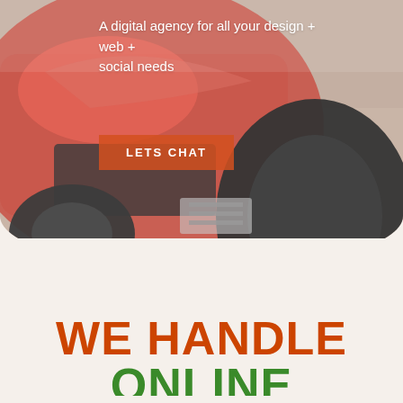[Figure (photo): Background photo of a red Formula 1 racing car, rear view showing large tires and aerodynamic body, with a semi-transparent white overlay. The image has a rounded bottom edge (convex curve).]
A digital agency for all your design + web + social needs
LETS CHAT
WE HANDLE
ONLINE